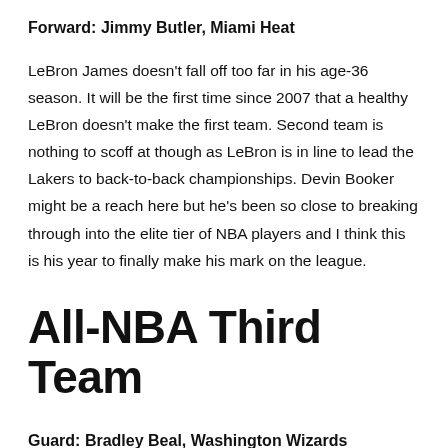Forward: Jimmy Butler, Miami Heat
LeBron James doesn't fall off too far in his age-36 season. It will be the first time since 2007 that a healthy LeBron doesn't make the first team. Second team is nothing to scoff at though as LeBron is in line to lead the Lakers to back-to-back championships. Devin Booker might be a reach here but he's been so close to breaking through into the elite tier of NBA players and I think this is his year to finally make his mark on the league.
All-NBA Third Team
Guard: Bradley Beal, Washington Wizards